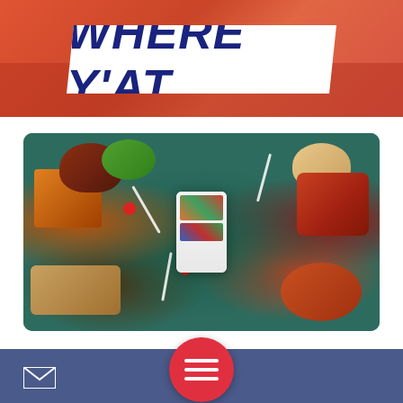[Figure (logo): WHERE Y'AT magazine logo on white parallelogram banner against red/orange city skyline background]
[Figure (photo): Overhead view of various food dishes on a dark teal table with a smartphone in the center showing a food app, surrounded by forks, spoons, tomatoes, bread, pasta, fried chicken, fries, salads, and other dishes]
Home > Articles > Food > Dining
[Figure (other): Red circular hamburger menu button with three white horizontal lines]
Email icon in blue footer bar